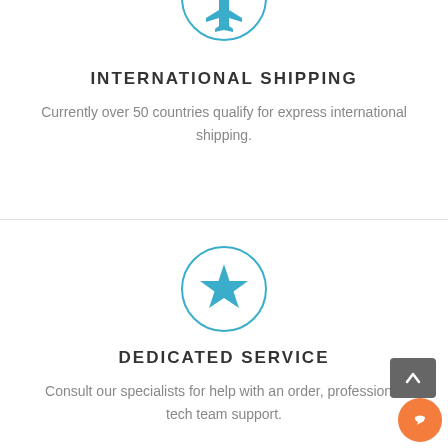[Figure (illustration): Blue airplane icon inside a blue circle outline (partially visible at top)]
INTERNATIONAL SHIPPING
Currently over 50 countries qualify for express international shipping.
[Figure (illustration): Blue star icon inside a blue circle outline]
DEDICATED SERVICE
Consult our specialists for help with an order, professional tech team support.